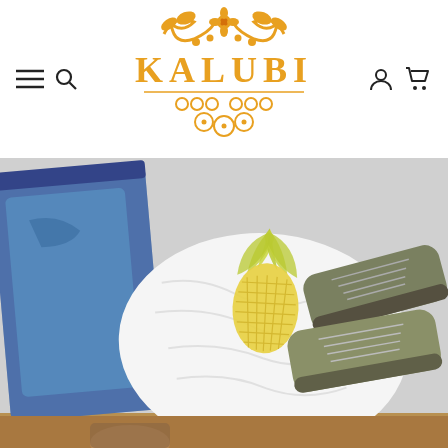[Figure (logo): KALUBI brand logo in orange/golden color with decorative floral/scroll ornamental design above and below the text]
[Figure (photo): Product photo showing a white t-shirt laid flat with a yellow pineapple print, surrounded by blue jeans on the left and olive/grey sneakers on the right, on a light grey surface. Bottom edge shows a wooden surface and partial view of a person.]